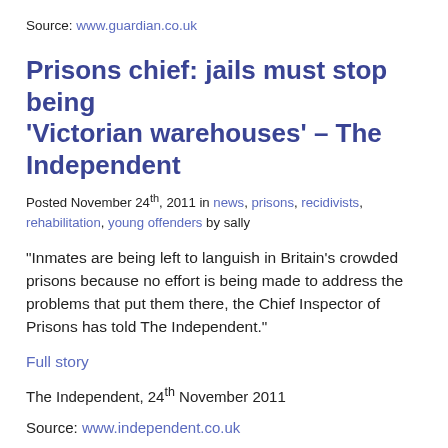Source: www.guardian.co.uk
Prisons chief: jails must stop being ‘Victorian warehouses’ – The Independent
Posted November 24th, 2011 in news, prisons, recidivists, rehabilitation, young offenders by sally
“Inmates are being left to languish in Britain’s crowded prisons because no effort is being made to address the problems that put them there, the Chief Inspector of Prisons has told The Independent.”
Full story
The Independent, 24th November 2011
Source: www.independent.co.uk